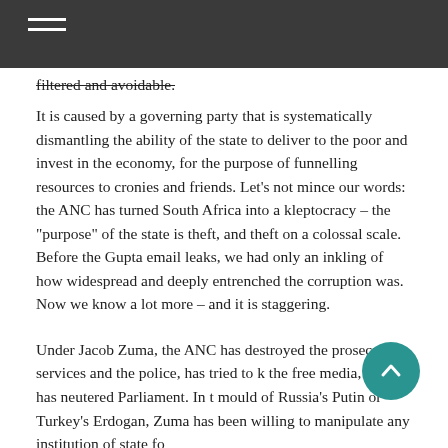filtered and avoidable.
It is caused by a governing party that is systematically dismantling the ability of the state to deliver to the poor and invest in the economy, for the purpose of funnelling resources to cronies and friends. Let’s not mince our words: the ANC has turned South Africa into a kleptocracy – the “purpose” of the state is theft, and theft on a colossal scale. Before the Gupta email leaks, we had only an inkling of how widespread and deeply entrenched the corruption was. Now we know a lot more – and it is staggering.
Under Jacob Zuma, the ANC has destroyed the prosecution services and the police, has tried to k[ill] the free media, and has neutered Parliament. In th[e] mould of Russia’s Putin or Turkey’s Erdogan, Zuma has been willing to manipulate any institution of state fo[r his own ends, for electoral ill...]